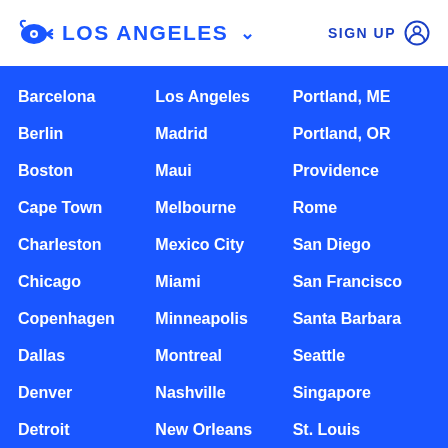LOS ANGELES  SIGN UP
Barcelona
Los Angeles
Portland, ME
Berlin
Madrid
Portland, OR
Boston
Maui
Providence
Cape Town
Melbourne
Rome
Charleston
Mexico City
San Diego
Chicago
Miami
San Francisco
Copenhagen
Minneapolis
Santa Barbara
Dallas
Montreal
Seattle
Denver
Nashville
Singapore
Detroit
New Orleans
St. Louis
Hamptons
New York
Sydney